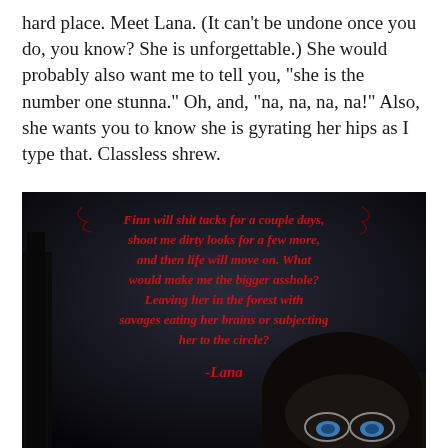hard place. Meet Lana. (It can't be undone once you do, you know? She is unforgettable.) She would probably also want me to tell you, "she is the number one stunna." Oh, and, "na, na, na, na!" Also, she wants you to know she is gyrating her hips as I type that. Classless shrew.
[Figure (photo): Dark atmospheric image of a young woman with dark hair and glasses, with red gothic text overlaid reading: 'Finn will shit tacks for a couple days, shoot me dirty looks for a few more, and then life will move on. What would make me the bigger asshole? Leaving her in the forest with savages eating her brains or subjecting her to the circle? -Lana']